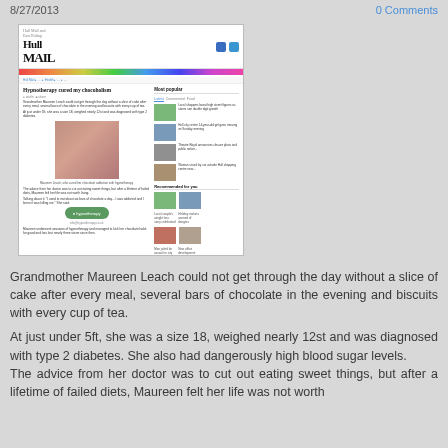8/27/2013
0 Comments
[Figure (screenshot): Screenshot of a newspaper website (Hull Daily Mail) showing an article titled 'Hypnotherapy cured my chocoholism' with a photo of a woman in red and sidebar popular stories]
Grandmother Maureen Leach could not get through the day without a slice of cake after every meal, several bars of chocolate in the evening and biscuits with every cup of tea.
At just under 5ft, she was a size 18, weighed nearly 12st and was diagnosed with type 2 diabetes. She also had dangerously high blood sugar levels.
The advice from her doctor was to cut out eating sweet things, but after a lifetime of failed diets, Maureen felt her life was not worth